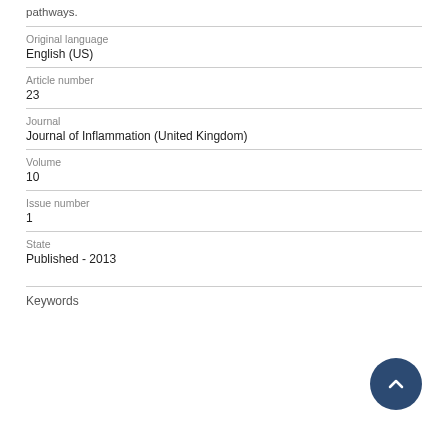pathways.
Original language
English (US)
Article number
23
Journal
Journal of Inflammation (United Kingdom)
Volume
10
Issue number
1
State
Published - 2013
Keywords